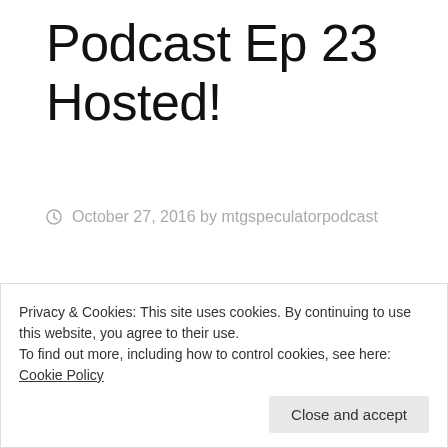Podcast Ep 23 Hosted!
October 27, 2016 by mtgspeculatorpodcast
Hello Listeners! We have a different type of episode this week. Matthew and Massimo will be discussing the new changes to the standard rotation. We present our speculative reasons
Privacy & Cookies: This site uses cookies. By continuing to use this website, you agree to their use.
To find out more, including how to control cookies, see here: Cookie Policy